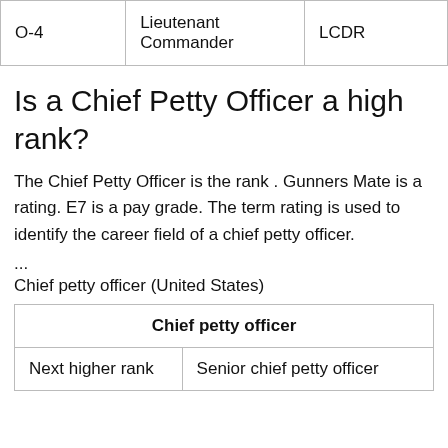|  |  |  |
| --- | --- | --- |
| O-4 | Lieutenant Commander | LCDR |
Is a Chief Petty Officer a high rank?
The Chief Petty Officer is the rank . Gunners Mate is a rating. E7 is a pay grade. The term rating is used to identify the career field of a chief petty officer.
...
Chief petty officer (United States)
| Chief petty officer |
| --- |
| Next higher rank | Senior chief petty officer |